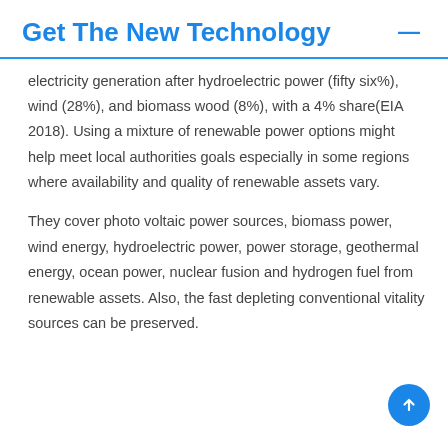Get The New Technology
electricity generation after hydroelectric power (fifty six%), wind (28%), and biomass wood (8%), with a 4% share(EIA 2018). Using a mixture of renewable power options might help meet local authorities goals especially in some regions where availability and quality of renewable assets vary.
They cover photo voltaic power sources, biomass power, wind energy, hydroelectric power, power storage, geothermal energy, ocean power, nuclear fusion and hydrogen fuel from renewable assets. Also, the fast depleting conventional vitality sources can be preserved.